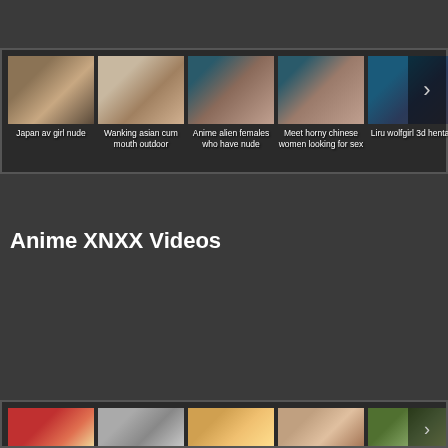[Figure (screenshot): Carousel of thumbnail images with captions: Japan av girl nude, Wanking asian cum mouth outdoor, Anime alien females who have nude, Meet horny chinese women looking for sex, Liru wolfgirl 3d hentai. Arrow navigation on right.]
Anime XNXX Videos
[Figure (screenshot): Second carousel row showing partial thumbnail images at the bottom of the page.]